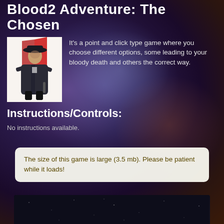Blood2 Adventure: The Chosen
[Figure (illustration): Pixel art / cartoon illustration of a dark-cloaked figure with a wide-brimmed hat, holding a weapon, with a red banner behind them]
It's a point and click type game where you choose different options, some leading to your bloody death and others the correct way.
Instructions/Controls:
No instructions available.
The size of this game is large (3.5 mb). Please be patient while it loads!
[Figure (screenshot): Dark space/starfield background panel at the bottom of the page]